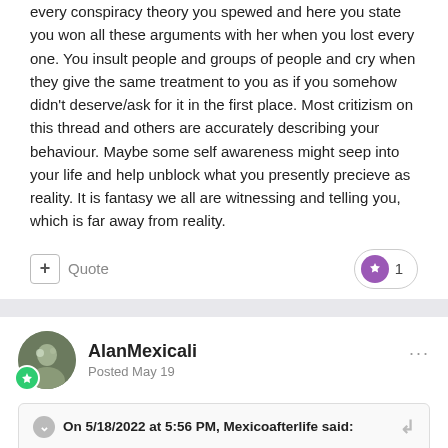every conspiracy theory you spewed and here you state you won all these arguments with her when you lost every one. You insult people and groups of people and cry when they give the same treatment to you as if you somehow didn't deserve/ask for it in the first place. Most critizism on this thread and others are accurately describing your behaviour. Maybe some self awareness might seep into your life and help unblock what you presently precieve as reality. It is fantasy we all are witnessing and telling you, which is far away from reality.
AlanMexicali
Posted May 19
On 5/18/2022 at 5:56 PM, Mexicoafterlife said:
That man also said if you like your doctor you can keep it.